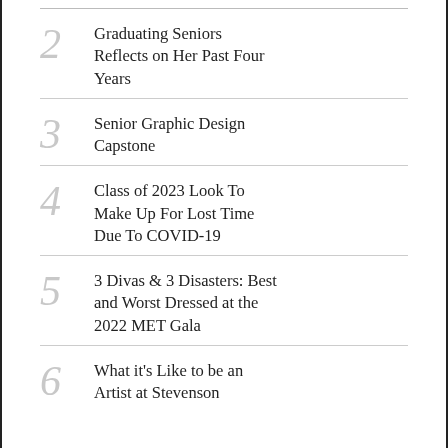2 Graduating Seniors Reflects on Her Past Four Years
3 Senior Graphic Design Capstone
4 Class of 2023 Look To Make Up For Lost Time Due To COVID-19
5 3 Divas & 3 Disasters: Best and Worst Dressed at the 2022 MET Gala
6 What it's Like to be an Artist at Stevenson